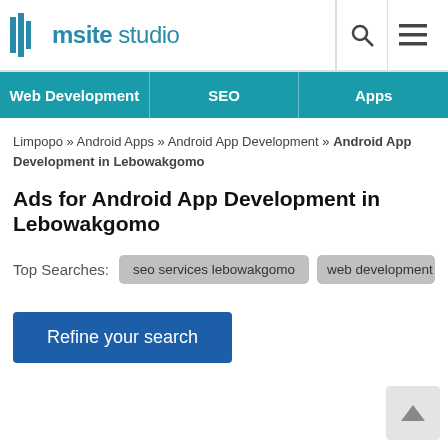msite studio
Web Development | SEO | Apps
Limpopo » Android Apps » Android App Development » Android App Development in Lebowakgomo
Ads for Android App Development in Lebowakgomo
Top Searches: seo services lebowakgomo  web development le…
Refine your search